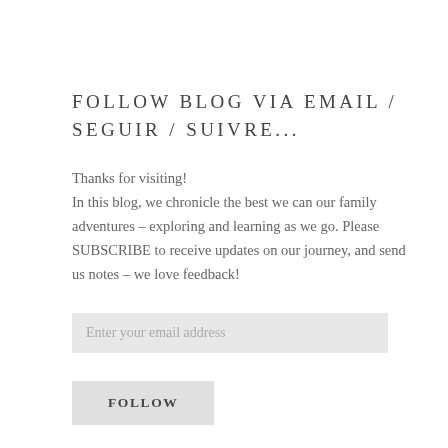FOLLOW BLOG VIA EMAIL / SEGUIR / SUIVRE...
Thanks for visiting!
In this blog, we chronicle the best we can our family adventures – exploring and learning as we go. Please SUBSCRIBE to receive updates on our journey, and send us notes – we love feedback!